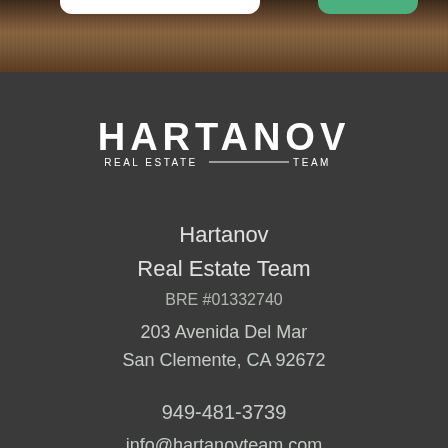[Figure (photo): Wood grain texture background at top of page with white and green rounded tabs at top edge]
[Figure (logo): Hartanov Real Estate Team logo in white on dark background, with large HARTANOV text and REAL ESTATE TEAM subtitle with horizontal line decoration]
Hartanov
Real Estate Team
BRE #01332740
203 Avenida Del Mar
San Clemente, CA 92672
949-481-3739
info@hartanovteam.com